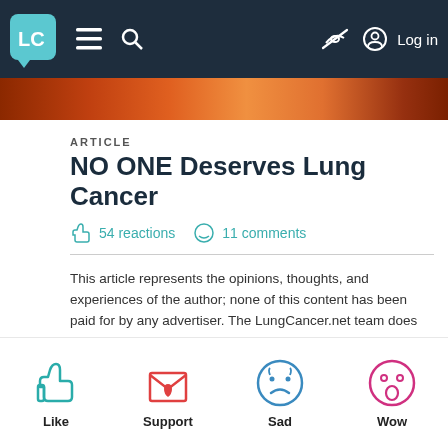LC | ≡ 🔍 | Log in
[Figure (photo): Orange/brown gradient hero image strip]
ARTICLE
NO ONE Deserves Lung Cancer
54 reactions  11 comments
This article represents the opinions, thoughts, and experiences of the author; none of this content has been paid for by any advertiser. The LungCancer.net team does not recommend or endorse any products or treatments discussed herein. Learn more about how we maintain editorial integrity here.
[Figure (infographic): Four reaction buttons: Like (teal thumbs up), Support (red envelope with heart), Sad (blue sad face), Wow (pink surprised face)]